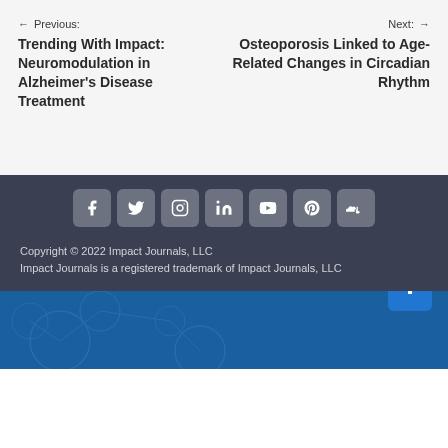← Previous: Trending With Impact: Neuromodulation in Alzheimer's Disease Treatment
Next: → Osteoporosis Linked to Age-Related Changes in Circadian Rhythm
[Figure (other): Social media icons row: Facebook, Twitter, Instagram, LinkedIn, YouTube, Pinterest, SoundCloud]
Copyright © 2022 Impact Journals, LLC Impact Journals is a registered trademark of Impact Journals, LLC